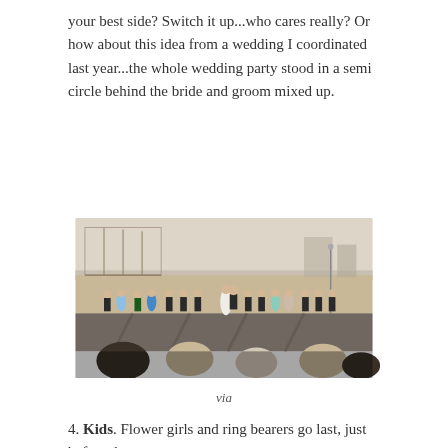your best side? Switch it up...who cares really? Or how about this idea from a wedding I coordinated last year...the whole wedding party stood in a semi circle behind the bride and groom mixed up.
[Figure (photo): Wedding party standing in a semi circle on a beachfront promenade with a pier and sandy beach visible in the background. The bride in white and groom are at center, surrounded by bridesmaids in colorful short dresses and groomsmen in dark suits. Seated audience is visible in the foreground.]
via
4. Kids. Flower girls and ring bearers go last, just before the